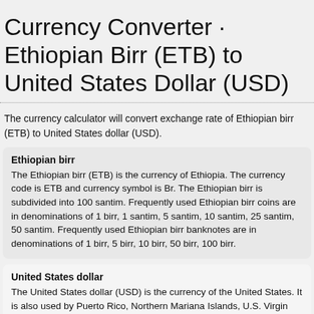Currency Converter · Ethiopian Birr (ETB) to United States Dollar (USD)
The currency calculator will convert exchange rate of Ethiopian birr (ETB) to United States dollar (USD).
Ethiopian birr
The Ethiopian birr (ETB) is the currency of Ethiopia. The currency code is ETB and currency symbol is Br. The Ethiopian birr is subdivided into 100 santim. Frequently used Ethiopian birr coins are in denominations of 1 birr, 1 santim, 5 santim, 10 santim, 25 santim, 50 santim. Frequently used Ethiopian birr banknotes are in denominations of 1 birr, 5 birr, 10 birr, 50 birr, 100 birr.
United States dollar
The United States dollar (USD) is the currency of the United States. It is also used by Puerto Rico, Northern Mariana Islands, U.S. Virgin Islands,